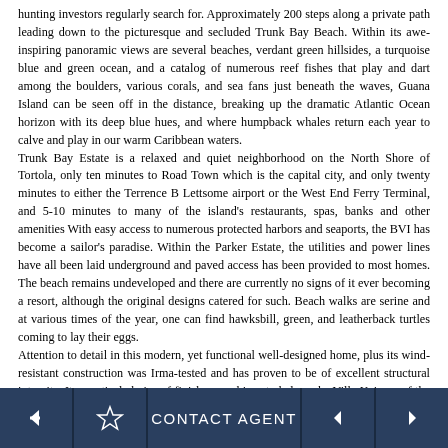hunting investors regularly search for. Approximately 200 steps along a private path leading down to the picturesque and secluded Trunk Bay Beach. Within its awe-inspiring panoramic views are several beaches, verdant green hillsides, a turquoise blue and green ocean, and a catalog of numerous reef fishes that play and dart among the boulders, various corals, and sea fans just beneath the waves, Guana Island can be seen off in the distance, breaking up the dramatic Atlantic Ocean horizon with its deep blue hues, and where humpback whales return each year to calve and play in our warm Caribbean waters.
Trunk Bay Estate is a relaxed and quiet neighborhood on the North Shore of Tortola, only ten minutes to Road Town which is the capital city, and only twenty minutes to either the Terrence B Lettsome airport or the West End Ferry Terminal, and 5-10 minutes to many of the island's restaurants, spas, banks and other amenities With easy access to numerous protected harbors and seaports, the BVI has become a sailor's paradise. Within the Parker Estate, the utilities and power lines have all been laid underground and paved access has been provided to most homes. The beach remains undeveloped and there are currently no signs of it ever becoming a resort, although the original designs catered for such. Beach walks are serine and at various times of the year, one can find hawksbill, green, and leatherback turtles coming to lay their eggs.
Attention to detail in this modern, yet functional well-designed home, plus its wind-resistant construction was Irma-tested and has proven to be of excellent structural integrity. Its practical choice of finishes combines to help make Villa Kai one of the most attractive homes that many
← ☆ CONTACT AGENT ◄ ►